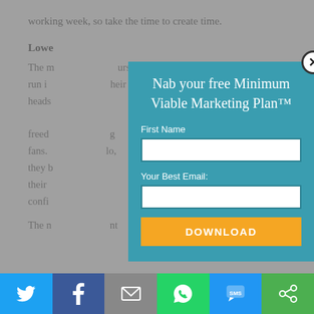working week, so take the time to create time.
Lowe...
The m... urs run i... heir heads... freed... ng fans. ...do, they b... their confi...
The n... nt
[Figure (screenshot): Modal popup with teal background. Title: 'Nab your free Minimum Viable Marketing Plan™'. Contains First Name input field, Your Best Email input field, and an orange DOWNLOAD button. Close button (X) in top right corner.]
[Figure (infographic): Social sharing bar at bottom with six buttons: Twitter (light blue), Facebook (dark blue), Email (gray), WhatsApp (green), SMS (blue), and another sharing option (green).]